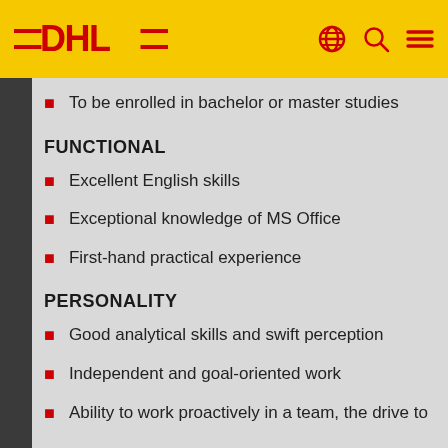DHL
To be enrolled in bachelor or master studies
FUNCTIONAL
Excellent English skills
Exceptional knowledge of MS Office
First-hand practical experience
PERSONALITY
Good analytical skills and swift perception
Independent and goal-oriented work
Ability to work proactively in a team, the drive to generate results and a can-do attitude